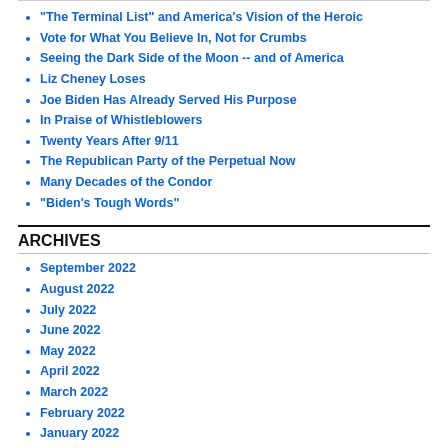"The Terminal List" and America's Vision of the Heroic
Vote for What You Believe In, Not for Crumbs
Seeing the Dark Side of the Moon -- and of America
Liz Cheney Loses
Joe Biden Has Already Served His Purpose
In Praise of Whistleblowers
Twenty Years After 9/11
The Republican Party of the Perpetual Now
Many Decades of the Condor
"Biden's Tough Words"
ARCHIVES
September 2022
August 2022
July 2022
June 2022
May 2022
April 2022
March 2022
February 2022
January 2022